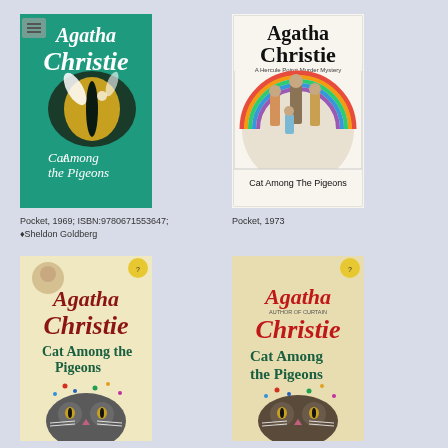[Figure (photo): Book cover: Agatha Christie 'Cat Among the Pigeons', Pocket 1969, teal background with cat eye illustration]
[Figure (photo): Book cover: Agatha Christie 'Cat Among The Pigeons', Pocket 1973, white background with illustrated figures in rainbow arc]
Pocket, 1969; ISBN:9780671553647;
♦Sheldon Goldberg
Pocket, 1973
[Figure (photo): Book cover: Agatha Christie 'Cat Among the Pigeons', cream background with red and green lettering and cat face]
[Figure (photo): Book cover: Agatha Christie 'Cat Among the Pigeons', Author of Curtain, cream background with red and green lettering and cat face]